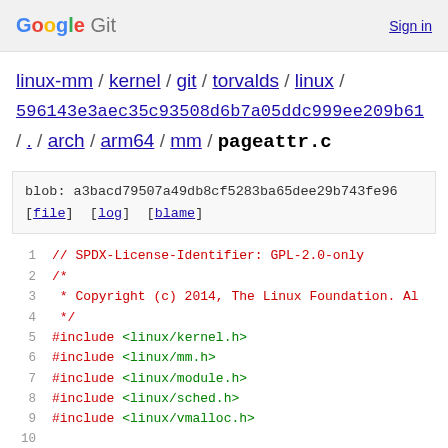Google Git  Sign in
linux-mm / kernel / git / torvalds / linux / 596143e3aec35c93508d6b7a05ddc999ee209b61 / . / arch / arm64 / mm / pageattr.c
blob: a3bacd79507a49db8cf5283ba65dee29b743fe96
[file] [log] [blame]
1  // SPDX-License-Identifier: GPL-2.0-only
2  /*
3   * Copyright (c) 2014, The Linux Foundation. Al
4   */
5  #include <linux/kernel.h>
6  #include <linux/mm.h>
7  #include <linux/module.h>
8  #include <linux/sched.h>
9  #include <linux/vmalloc.h>
10